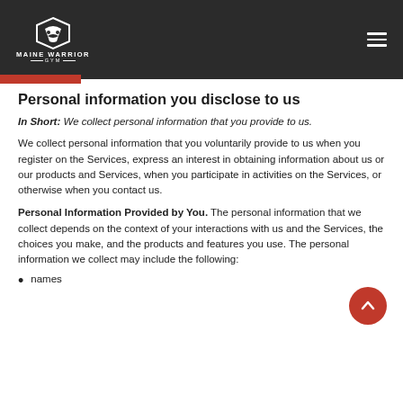MAINE WARRIOR GYM
Personal information you disclose to us
In Short: We collect personal information that you provide to us.
We collect personal information that you voluntarily provide to us when you register on the Services, express an interest in obtaining information about us or our products and Services, when you participate in activities on the Services, or otherwise when you contact us.
Personal Information Provided by You. The personal information that we collect depends on the context of your interactions with us and the Services, the choices you make, and the products and features you use. The personal information we collect may include the following:
names